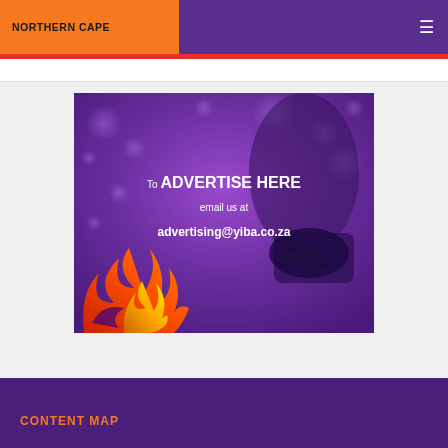NORTHERN CAPE
[Figure (illustration): Purple advertisement banner with bokeh background and shoe silhouette. Text reads: 'To ADVERTISE HERE email us at advertising@yiba.co.za' with a flame logo in the bottom left corner.]
CONTENT MAP